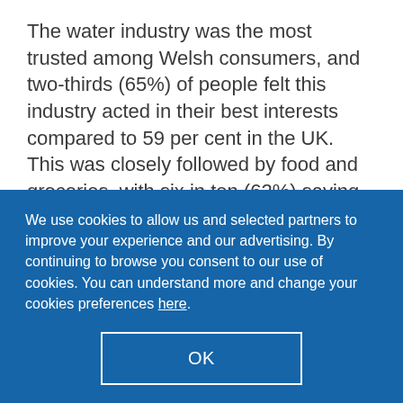The water industry was the most trusted among Welsh consumers, and two-thirds (65%) of people felt this industry acted in their best interests compared to 59 per cent in the UK. This was closely followed by food and groceries, with six in ten (62%) saying they had confidence in this industry.
Around three in 10 people (31%) said they had trust in the energy industry, while more than
We use cookies to allow us and selected partners to improve your experience and our advertising. By continuing to browse you consent to our use of cookies. You can understand more and change your cookies preferences here.
OK